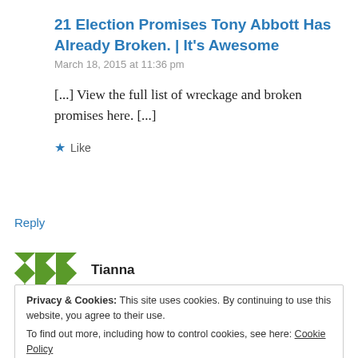21 Election Promises Tony Abbott Has Already Broken. | It's Awesome
March 18, 2015 at 11:36 pm
[...] View the full list of wreckage and broken promises here. [...]
★ Like
Reply
Tianna
Privacy & Cookies: This site uses cookies. By continuing to use this website, you agree to their use.
To find out more, including how to control cookies, see here: Cookie Policy
Close and accept
is negatively affecting our country !